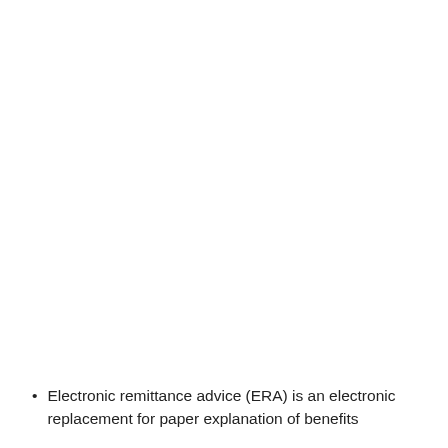Electronic remittance advice (ERA) is an electronic replacement for paper explanation of benefits